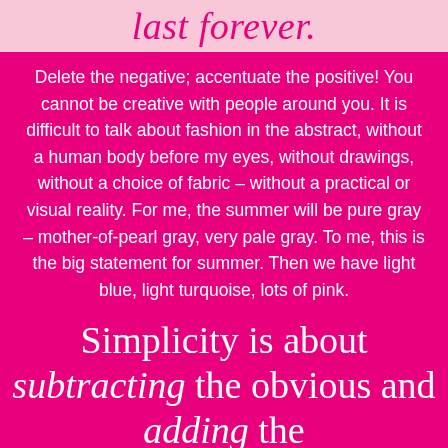last forever.
Delete the negative; accentuate the positive! You cannot be creative with people around you. It is difficult to talk about fashion in the abstract, without a human body before my eyes, without drawings, without a choice of fabric – without a practical or visual reality. For me, the summer will be pure gray – mother-of-pearl gray, very pale gray. To me, this is the big statement for summer. Then we have light blue, light turquoise, lots of pink.
Simplicity is about subtracting the obvious and adding the